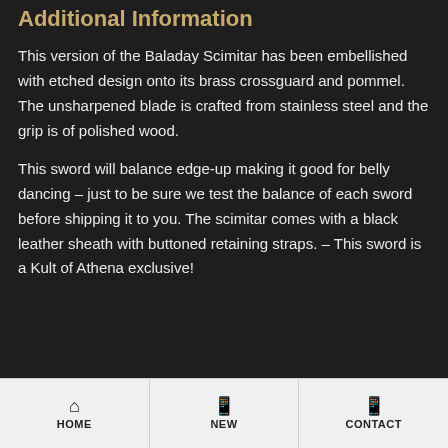Additional Information
This version of the Baladay Scimitar has been embellished with etched design onto its brass crossguard and pommel. The unsharpened blade is crafted from stainless steel and the grip is of polished wood.
This sword will balance edge-up making it good for belly dancing – just to be sure we test the balance of each sword before shipping it to you. The scimitar comes with a black leather sheath with buttoned retaining straps. – This sword is a Kult of Athena exclusive!
HOME   NEW   CONTACT